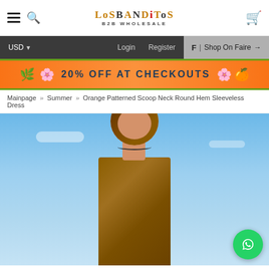LosBanditos B2B Wholesale — navigation header with hamburger menu, search, logo, and cart icon
USD  Login  Register  F | Shop On Faire →
[Figure (infographic): Orange promotional banner with green border reading '20% OFF AT CHECKOUTS' with flower decorations on orange/tropical background]
Mainpage » Summer » Orange Patterned Scoop Neck Round Hem Sleeveless Dress
[Figure (photo): Fashion model wearing an orange patterned sleeveless dress with a matching head scarf, photographed against a blue sky background. The model has light skin, eyes closed, wearing a thin necklace. A WhatsApp contact button appears in the bottom right corner.]